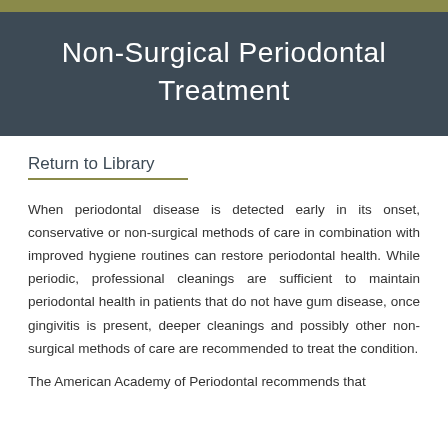Non-Surgical Periodontal Treatment
Return to Library
When periodontal disease is detected early in its onset, conservative or non-surgical methods of care in combination with improved hygiene routines can restore periodontal health. While periodic, professional cleanings are sufficient to maintain periodontal health in patients that do not have gum disease, once gingivitis is present, deeper cleanings and possibly other non-surgical methods of care are recommended to treat the condition.
The American Academy of Periodontal recommends that